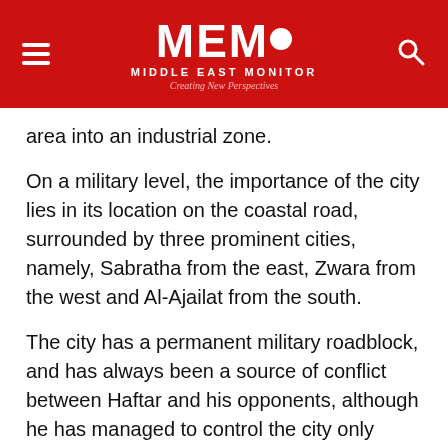MEMO MIDDLE EAST MONITOR Creating New Perspectives
area into an industrial zone.
On a military level, the importance of the city lies in its location on the coastal road, surrounded by three prominent cities, namely, Sabratha from the east, Zwara from the west and Al-Ajailat from the south.
The city has a permanent military roadblock, and has always been a source of conflict between Haftar and his opponents, although he has managed to control the city only recently.